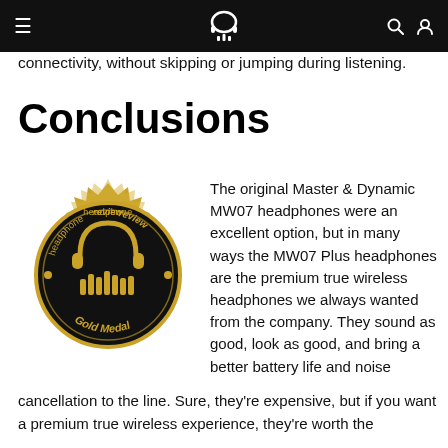headphonereview [logo] search user
connectivity, without skipping or jumping during listening.
Conclusions
[Figure (illustration): headphonereview Gold Medal badge — a gold gear/starburst seal with a black circular center containing a headphones logo and the text 'headphonereview' and 'Gold Medal']
The original Master & Dynamic MW07 headphones were an excellent option, but in many ways the MW07 Plus headphones are the premium true wireless headphones we always wanted from the company. They sound as good, look as good, and bring a better battery life and noise cancellation to the line. Sure, they're expensive, but if you want a premium true wireless experience, they're worth the